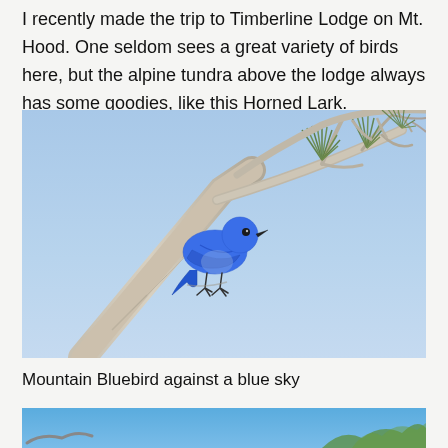I recently made the trip to Timberline Lodge on Mt. Hood. One seldom sees a great variety of birds here, but the alpine tundra above the lodge always has some goodies, like this Horned Lark.
[Figure (photo): A Mountain Bluebird perched on a bare tree branch against a clear blue sky, with pine needles visible on branches in the upper right.]
Mountain Bluebird against a blue sky
[Figure (photo): Partial view of another bird photo, partially visible at the bottom of the page, showing blue sky and green foliage.]